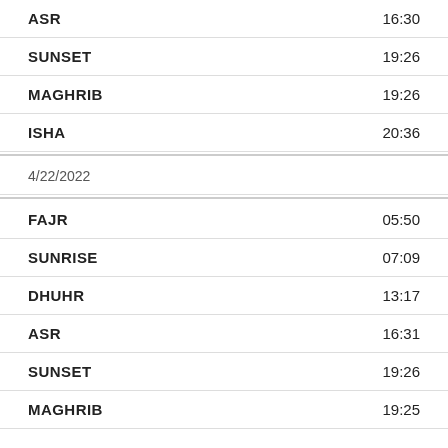ASR  16:30
SUNSET  19:26
MAGHRIB  19:26
ISHA  20:36
4/22/2022
FAJR  05:50
SUNRISE  07:09
DHUHR  13:17
ASR  16:31
SUNSET  19:26
MAGHRIB  19:25